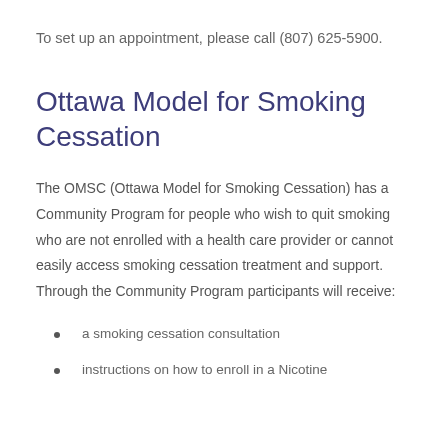To set up an appointment, please call (807) 625-5900.
Ottawa Model for Smoking Cessation
The OMSC (Ottawa Model for Smoking Cessation) has a Community Program for people who wish to quit smoking who are not enrolled with a health care provider or cannot easily access smoking cessation treatment and support. Through the Community Program participants will receive:
a smoking cessation consultation
instructions on how to enroll in a Nicotine